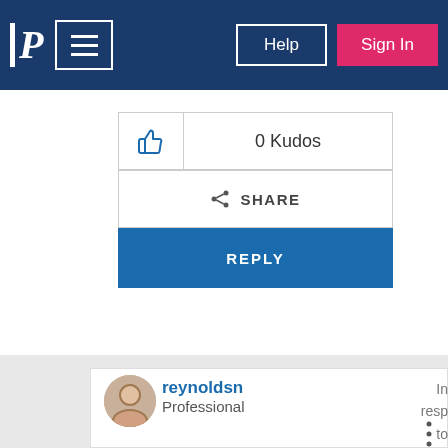P | Help | Sign In
[Figure (screenshot): Kudos button with thumbs up icon and '0 Kudos' label]
[Figure (screenshot): Share button with share icon and 'SHARE' label]
[Figure (screenshot): Blue REPLY button]
reynoldsn
Professional
In response to dstr